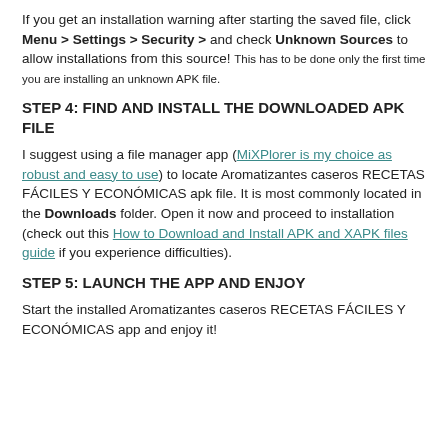If you get an installation warning after starting the saved file, click Menu > Settings > Security > and check Unknown Sources to allow installations from this source! This has to be done only the first time you are installing an unknown APK file.
STEP 4: FIND AND INSTALL THE DOWNLOADED APK FILE
I suggest using a file manager app (MiXPlorer is my choice as robust and easy to use) to locate Aromatizantes caseros RECETAS FÁCILES Y ECONÓMICAS apk file. It is most commonly located in the Downloads folder. Open it now and proceed to installation (check out this How to Download and Install APK and XAPK files guide if you experience difficulties).
STEP 5: LAUNCH THE APP AND ENJOY
Start the installed Aromatizantes caseros RECETAS FÁCILES Y ECONÓMICAS app and enjoy it!